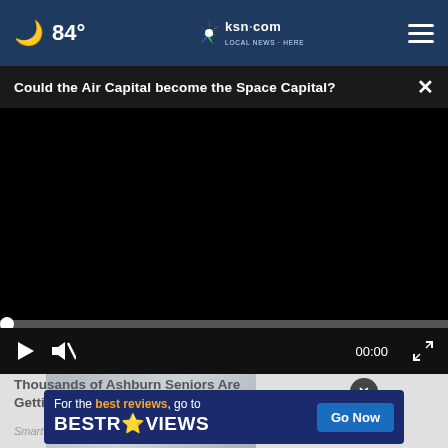☽ 84° | ksn.com LOCAL NEWS · HERE FOR YOU | ☰
Could the Air Capital become the Space Capital?  ×
[Figure (screenshot): Black video player area with progress bar at bottom showing 00:00 timestamp, play button, mute button, and fullscreen button]
[Figure (photo): Partial thumbnail image showing silver/grey architectural or aeronautical structure]
Thousands of Ashburn Seniors Are Getting Walk-in T...
Smart Consumer Update
[Figure (infographic): BestReviews advertisement banner: 'For the best reviews, go to BESTREVIEWS' with Go Now button]